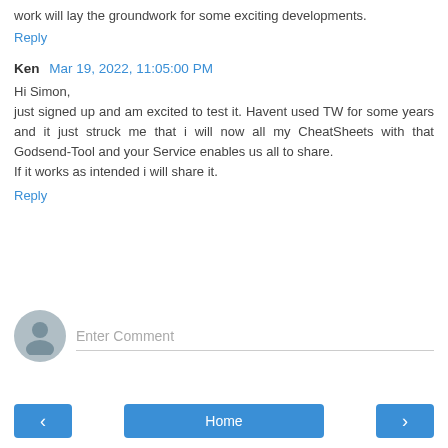work will lay the groundwork for some exciting developments.
Reply
Ken  Mar 19, 2022, 11:05:00 PM
Hi Simon,
just signed up and am excited to test it. Havent used TW for some years and it just struck me that i will now all my CheatSheets with that Godsend-Tool and your Service enables us all to share.
If it works as intended i will share it.
Reply
Enter Comment
Home